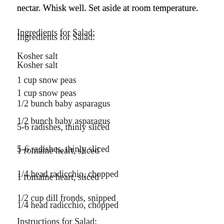nectar. Whisk well. Set aside at room temperature.
Ingredients for Salad:
Kosher salt
1 cup snow peas
1/2 bunch baby asparagus
5-6 radishes, thinly sliced
1 romaine heart, sliced
1/4 head radicchio, chopped
1/2 cup dill fronds, snipped
Instructions for Salad:
Fill a large bowl with ice water. Add a handful of kosher salt.